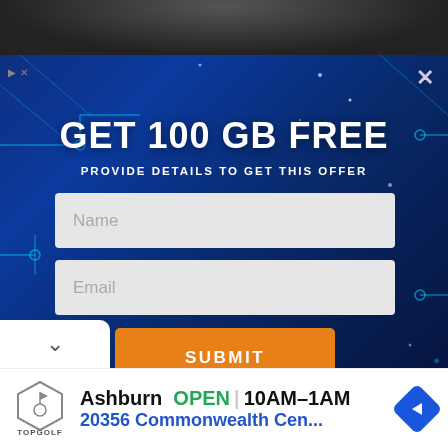[Figure (screenshot): Dark photo strip at top of page showing partial dark background]
[Figure (screenshot): Blue tech/circuit-board themed popup overlay with GET 100 GB FREE offer, Name and Email input fields, and SUBMIT button]
GET 100 GB FREE
PROVIDE DETAILS TO GET THIS OFFER
Name
Email
SUBMIT
[Figure (screenshot): Bottom advertisement bar with Topgolf logo showing: Ashburn OPEN 10AM-1AM 20356 Commonwealth Cen...]